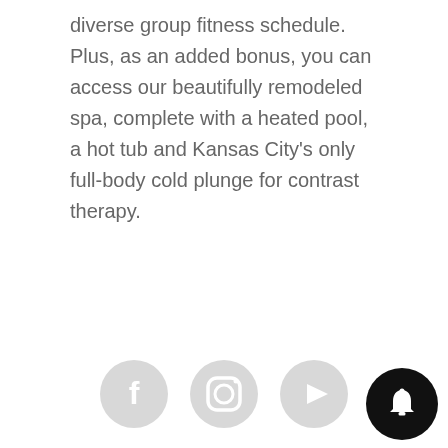diverse group fitness schedule. Plus, as an added bonus, you can access our beautifully remodeled spa, complete with a heated pool, a hot tub and Kansas City's only full-body cold plunge for contrast therapy.
[Figure (illustration): Three social media icon buttons in light gray circles: Facebook, Instagram, and YouTube]
Recent Posts
The 5 Health Benefits to Getting Routine Massage Therapy
High Intensity Interval Training: 5 Reasons Why You
[Figure (other): Black circular notification bell button in bottom right corner]